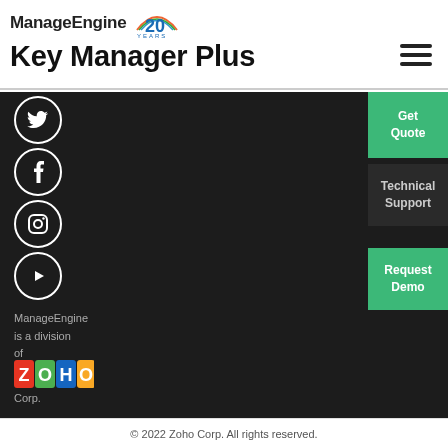ManageEngine 20 YEARS | Key Manager Plus
[Figure (logo): ManageEngine logo with 20 Years badge and Key Manager Plus product name with hamburger menu icon]
[Figure (illustration): Dark background section with Twitter, Facebook, Instagram, YouTube social media circle icons on left side, and Get Quote (green), Technical Support (dark), Request Demo (green) buttons on right side]
ManageEngine is a division of Zoho Corp.
[Figure (logo): Zoho colored logo with Z(red), O(green), H(dark blue), O(yellow) letters]
© 2022 Zoho Corp. All rights reserved.